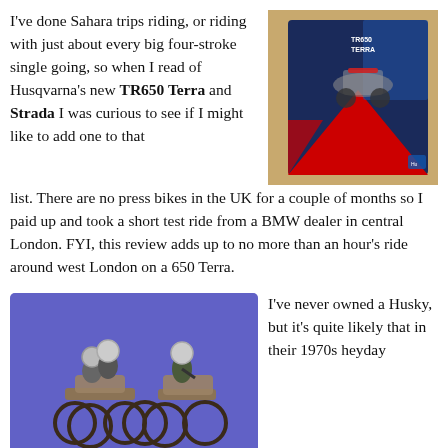I've done Sahara trips riding, or riding with just about every big four-stroke single going, so when I read of Husqvarna's new TR650 Terra and Strada I was curious to see if I might like to add one to that list. There are no press bikes in the UK for a couple of months so I paid up and took a short test ride from a BMW dealer in central London. FYI, this review adds up to no more than an hour's ride around west London on a 650 Terra.
[Figure (photo): A TR650 Terra Husqvarna brochure/booklet lying on a surface, showing the motorcycle on the cover with TR650 TERRA text visible.]
[Figure (photo): Two vintage Husqvarna motocross riders on bikes against a blue/purple background, showing 1970s era dirt bikes.]
I've never owned a Husky, but it's quite likely that in their 1970s heyday